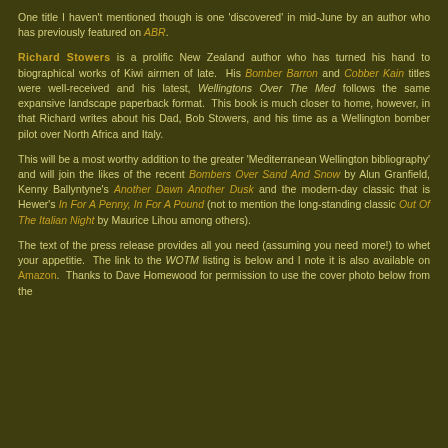One title I haven't mentioned though is one 'discovered' in mid-June by an author who has previously featured on ABR.
Richard Stowers is a prolific New Zealand author who has turned his hand to biographical works of Kiwi airmen of late. His Bomber Barron and Cobber Kain titles were well-received and his latest, Wellingtons Over The Med follows the same expansive landscape paperback format. This book is much closer to home, however, in that Richard writes about his Dad, Bob Stowers, and his time as a Wellington bomber pilot over North Africa and Italy.
This will be a most worthy addition to the greater 'Mediterranean Wellington bibliography' and will join the likes of the recent Bombers Over Sand And Snow by Alun Granfield, Kenny Ballyntyne's Another Dawn Another Dusk and the modern-day classic that is Hewer's In For A Penny, In For A Pound (not to mention the long-standing classic Out Of The Italian Night by Maurice Lihou among others).
The text of the press release provides all you need (assuming you need more!) to whet your appetitie. The link to the WOTM listing is below and I note it is also available on Amazon. Thanks to Dave Homewood for permission to use the cover photo below from the